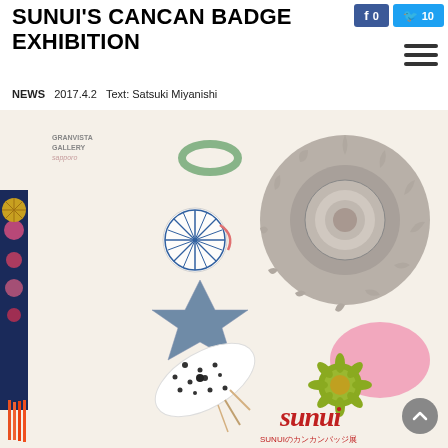SUNUI'S CANCAN BADGE EXHIBITION
f 0 | 10
NEWS  2017.4.2  Text: Satsuki Miyanishi
[Figure (photo): Exhibition promotional image for SUNUI's Cancan Badge Exhibition at Granvista Gallery Sapporo. Shows various decorative badges and textile art pieces including a large grey frilled circular badge, a star-shaped metallic badge, a dotted textile piece, embroidered ribbon, tassels, and a green sunflower-like badge. The word 'sunui' is written in red cursive at the bottom along with Japanese text 'SUNUIのカンカンバッジ展'.]